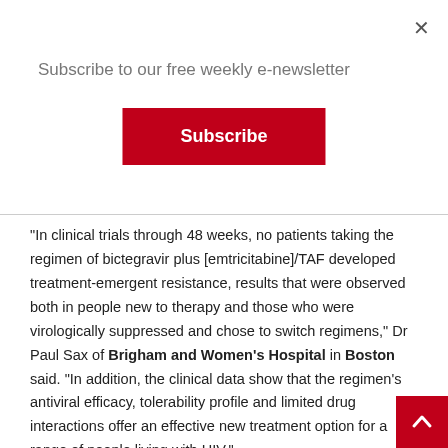Subscribe to our free weekly e-newsletter
Subscribe
"In clinical trials through 48 weeks, no patients taking the regimen of bictegravir plus [emtricitabine]/TAF developed treatment-emergent resistance, results that were observed both in people new to therapy and those who were virologically suppressed and chose to switch regimens," Dr Paul Sax of Brigham and Women's Hospital in Boston said. "In addition, the clinical data show that the regimen's antiviral efficacy, tolerability profile and limited drug interactions offer an effective new treatment option for a range of people living with HIV."